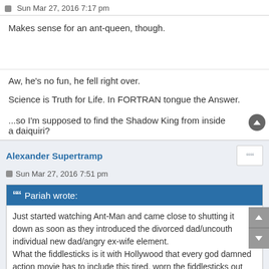Sun Mar 27, 2016 7:17 pm
Makes sense for an ant-queen, though.
Aw, he's no fun, he fell right over.
Science is Truth for Life. In FORTRAN tongue the Answer.
...so I'm supposed to find the Shadow King from inside a daiquiri?
Alexander Supertramp
Sun Mar 27, 2016 7:51 pm
Pariah wrote:
Just started watching Ant-Man and came close to shutting it down as soon as they introduced the divorced dad/uncouth individual new dad/angry ex-wife element.
What the fiddlesticks is it with Hollywood that every god damned action movie has to include this tired, worn the fiddlesticks out element? Talk about unimaginative hack writing.